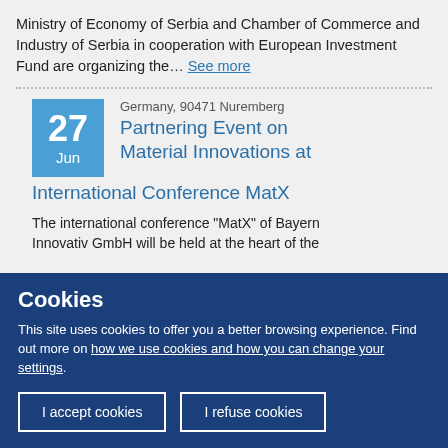Ministry of Economy of Serbia and Chamber of Commerce and Industry of Serbia in cooperation with European Investment Fund are organizing the… See more
Germany, 90471 Nuremberg
Partnering Event on Material Innovations at International Conference MatX
The international conference "MatX" of Bayern Innovativ GmbH will be held at the heart of the
Cookies
This site uses cookies to offer you a better browsing experience. Find out more on how we use cookies and how you can change your settings.
I accept cookies
I refuse cookies